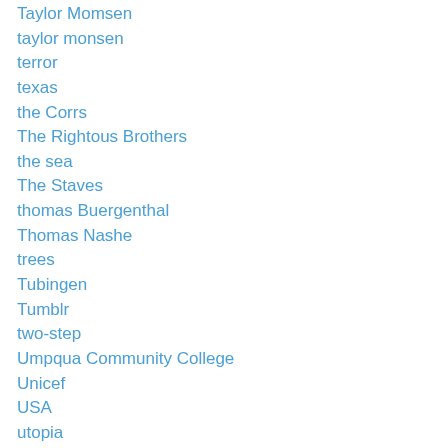Taylor Momsen
taylor monsen
terror
texas
the Corrs
The Rightous Brothers
the sea
The Staves
thomas Buergenthal
Thomas Nashe
trees
Tubingen
Tumblr
two-step
Umpqua Community College
Unicef
USA
utopia
Verbal poetry
veteran